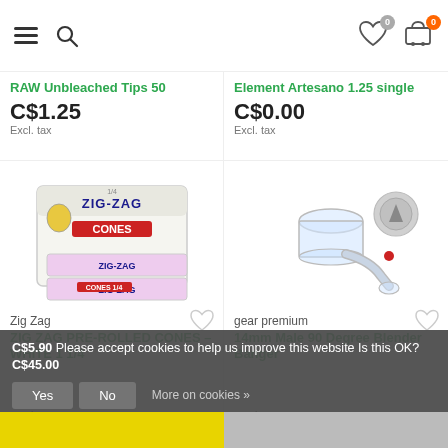Navigation header with hamburger menu, search icon, wishlist (0), and cart (0)
RAW Unbleached Tips 50
C$1.25
Excl. tax
Element Artesano 1.25 single
C$0.00
Excl. tax
[Figure (photo): Box of ZIG ZAG Pre-rolled White Cones 1-1/4 size product packaging]
Zig Zag
ZIG ZAG PRE-ROLLED CONES – WHITE 1 1/4
C$5.90
Excl. tax
[Figure (photo): 14mm Male 90 Degree Blender Banger glass product with small red dot accent]
gear premium
14mm Male 90 Degree Blender Banger
C$45.00
Excl. tax
Please accept cookies to help us improve this website Is this OK?
Yes
No
More on cookies »